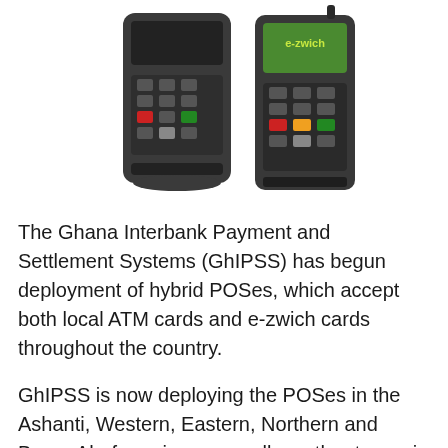[Figure (photo): Two handheld POS/payment terminal devices side by side on a white background. The left device is a standard POS terminal with a numeric keypad and colored buttons. The right device is an e-zwich branded terminal with a green screen displaying the e-zwich logo.]
The Ghana Interbank Payment and Settlement Systems (GhIPSS) has begun deployment of hybrid POSes, which accept both local ATM cards and e-zwich cards throughout the country.
GhIPSS is now deploying the POSes in the Ashanti, Western, Eastern, Northern and Brong Ahafo regions, as well as other towns in the Greater Accra region.
It is common practice for shoppers to carry huge sums of money to shop, but with these POSes, the